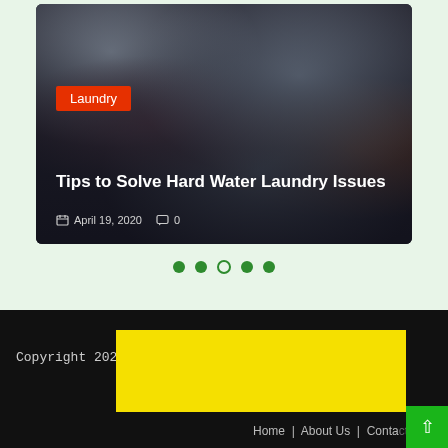[Figure (photo): Blog post card showing a pile of laundry clothes with dark overlay. Contains a red 'Laundry' category badge, title 'Tips to Solve Hard Water Laundry Issues', date 'April 19, 2020', and comment count '0'.]
Laundry
Tips to Solve Hard Water Laundry Issues
April 19, 2020   0
[Figure (other): Pagination dots: 5 dots total — dots 1, 2, 4, 5 are filled green circles; dot 3 is an outlined circle.]
Copyright 2021   Home | About Us | Conta...